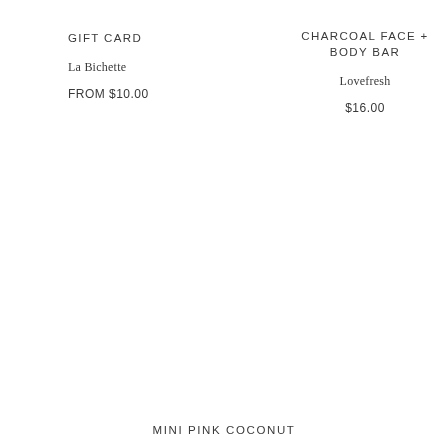GIFT CARD
La Bichette
FROM $10.00
CHARCOAL FACE + BODY BAR
Lovefresh
$16.00
MINI PINK COCONUT